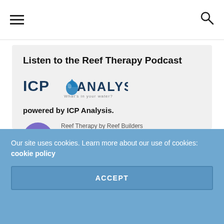Navigation bar with hamburger menu and search icon
Listen to the Reef Therapy Podcast
[Figure (logo): ICP Analysis logo with water drop icon and text 'ICP ANALYSIS - What's in your water?']
powered by ICP Analysis.
[Figure (other): Podcast player widget showing play button, episode title 'Catching up on our Tanks, ReefStock and Australia' from 'Reef Therapy by Reef Builders', timer 00:00:00, and audio waveform]
Our site uses cookies. Learn more about our use of cookies: cookie policy
ACCEPT